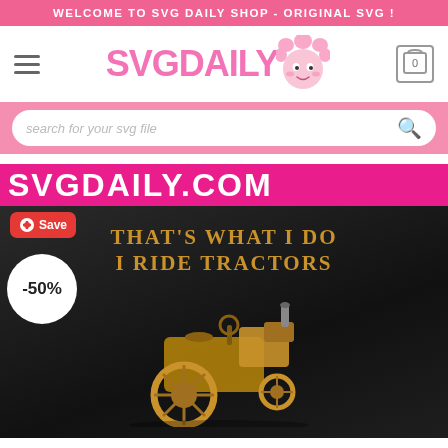WELCOME TO SVG DAILY SHOP - ORIGINAL SVG !
[Figure (logo): SVGDAILY logo with pink text and cartoon face character, hamburger menu icon on left, cart icon with 0 on right]
[Figure (screenshot): Search bar with placeholder text 'search for your svg file' and search icon, on pink background]
[Figure (illustration): Product image showing 'THAT'S WHAT I DO I RIDE TRACTORS' text in gold on dark background with vintage tractor illustration. Pink banner with SVGDAILY.COM text. Save button and -50% discount badge overlaid.]